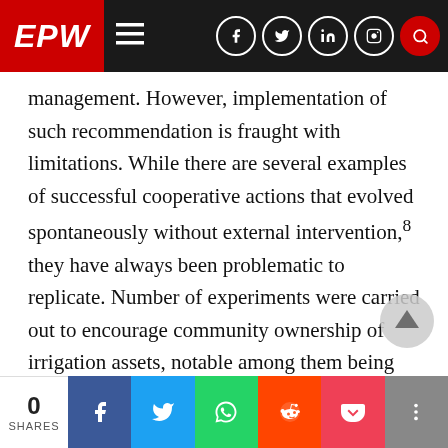EPW — Navigation bar with logo and social icons
management. However, implementation of such recommendation is fraught with limitations. While there are several examples of successful cooperative actions that evolved spontaneously without external intervention,8 they have always been problematic to replicate. Number of experiments were carried out to encourage community ownership of irrigation assets, notable among them being the case of endowing tubewell capital to the landless in Bangladesh [Wood and Palmer-Jones 1991] and that of community tubewells in Vaishali district of Bihar [Pant 19... Neither of the two experiments was successful...
0 SHARES | Share on Facebook | Share on Twitter | Share on WhatsApp | Share on Reddit | Share on Pocket | More